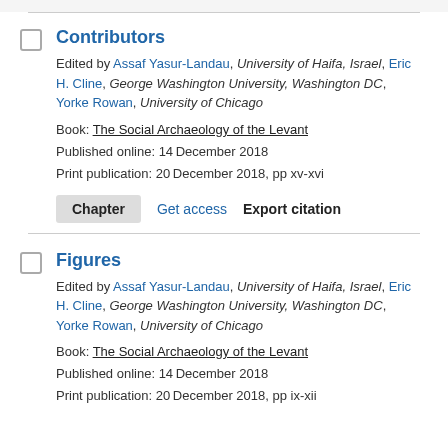Contributors
Edited by Assaf Yasur-Landau, University of Haifa, Israel, Eric H. Cline, George Washington University, Washington DC, Yorke Rowan, University of Chicago
Book: The Social Archaeology of the Levant
Published online: 14 December 2018
Print publication: 20 December 2018, pp xv-xvi
Figures
Edited by Assaf Yasur-Landau, University of Haifa, Israel, Eric H. Cline, George Washington University, Washington DC, Yorke Rowan, University of Chicago
Book: The Social Archaeology of the Levant
Published online: 14 December 2018
Print publication: 20 December 2018, pp ix-xii